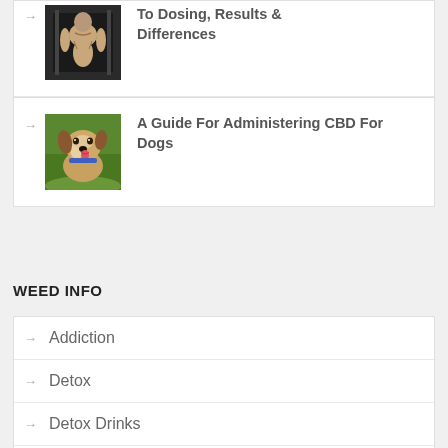[Figure (photo): Muscular athlete holding gym equipment]
To Dosing, Results & Differences
[Figure (photo): Dog licking its nose, outdoors on green background]
A Guide For Administering CBD For Dogs
WEED INFO
Addiction
Detox
Detox Drinks
Detox Pills